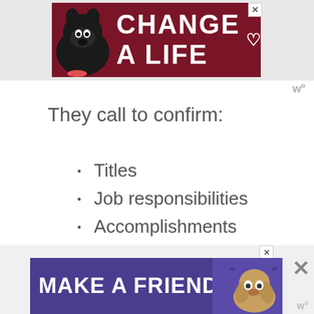[Figure (illustration): Advertisement banner with dark red background showing a black Labrador dog and text 'CHANGE A LIFE' with a heart icon. Close button in top right corner.]
They call to confirm:
Titles
Job responsibilities
Accomplishments
Personality
Attributes
[Figure (illustration): Advertisement banner with purple background showing a basset hound dog and text 'MAKE A FRIEND' with a heart icon. Close button visible.]